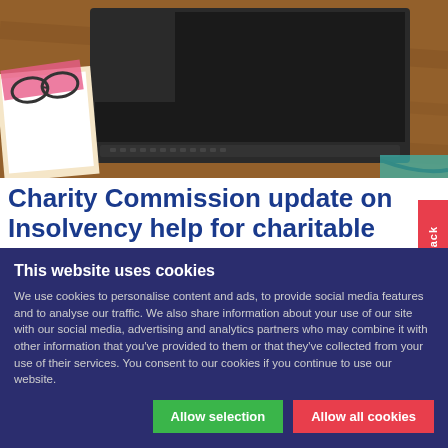[Figure (photo): Photo of a laptop on a wooden desk with glasses and notebooks]
Charity Commission update on Insolvency help for charitable
back
This website uses cookies
We use cookies to personalise content and ads, to provide social media features and to analyse our traffic. We also share information about your use of our site with our social media, advertising and analytics partners who may combine it with other information that you've provided to them or that they've collected from your use of their services. You consent to our cookies if you continue to use our website.
Allow selection | Allow all cookies
Necessary | Preferences | Statistics | Marketing | Show details